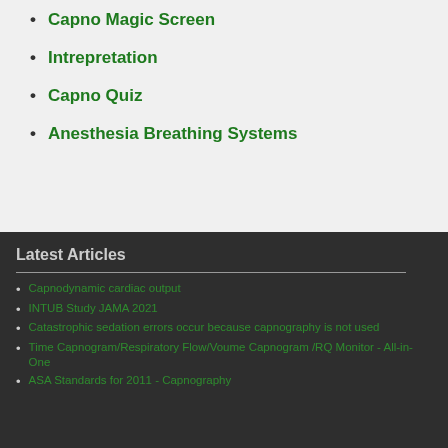Capno Magic Screen
Intrepretation
Capno Quiz
Anesthesia Breathing Systems
Latest Articles
Capnodynamic cardiac output
INTUB Study JAMA 2021
Catastrophic sedation errors occur because capnography is not used
Time Capnogram/Respiratory Flow/Voume Capnogram /RQ Monitor - All-in-One
ASA Standards for 2011 - Capnography